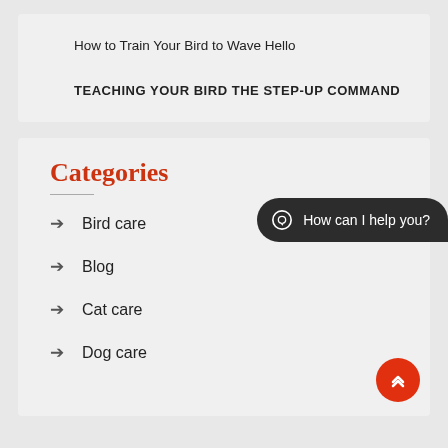How to Train Your Bird to Wave Hello
TEACHING YOUR BIRD THE STEP-UP COMMAND
Categories
Bird care
Blog
Cat care
Dog care
How can I help you?